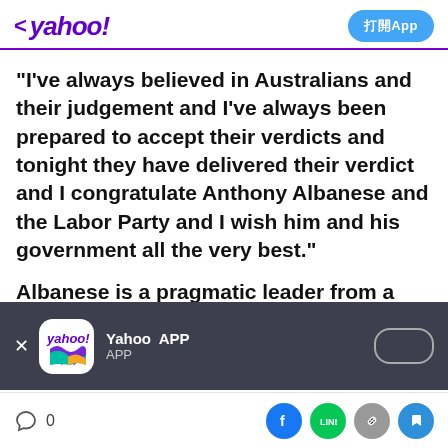< yahoo! 打開App
"I've always believed in Australians and their judgement and I've always been prepared to accept their verdicts and tonight they have delivered their verdict and I congratulate Anthony Albanese and the Labor Party and I wish him and his government all the very best."
Albanese is a pragmatic leader from a
[Figure (screenshot): Yahoo APP promotional banner with Yahoo logo icon, text 'Yahoo APP' and 'APP', close X button, and an open button pill shape]
0  [social share icons: Facebook, LINE, link, bookmark]